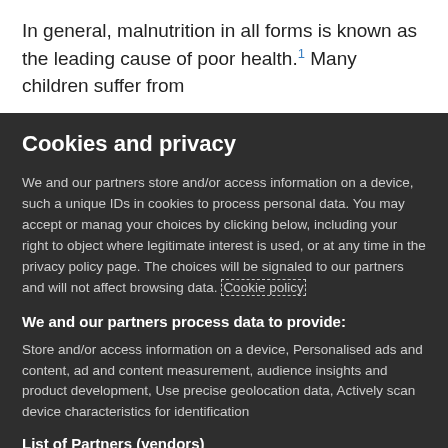In general, malnutrition in all forms is known as the leading cause of poor health.¹ Many children suffer from
Cookies and privacy
We and our partners store and/or access information on a device, such as unique IDs in cookies to process personal data. You may accept or manage your choices by clicking below, including your right to object where legitimate interest is used, or at any time in the privacy policy page. These choices will be signaled to our partners and will not affect browsing data. Cookie policy
We and our partners process data to provide:
Store and/or access information on a device, Personalised ads and content, ad and content measurement, audience insights and product development, Use precise geolocation data, Actively scan device characteristics for identification
List of Partners (vendors)
I Accept